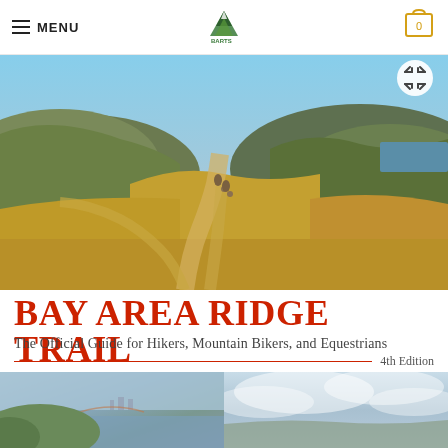MENU
[Figure (logo): Green mountain/trail logo in center of nav bar]
[Figure (photo): Scenic outdoor photo of a winding dirt trail through golden grass hills with mountains and blue sky, hikers visible in distance]
BAY AREA RIDGE TRAIL
The Official Guide for Hikers, Mountain Bikers, and Equestrians
4th Edition
[Figure (photo): Bay Area coastal landscape with city skyline visible in haze]
[Figure (photo): Cloudy sky over open landscape]